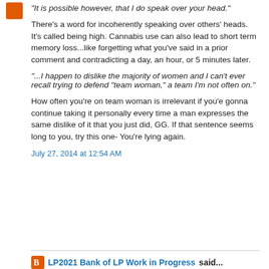"It is possible however, that I do speak over your head."
There's a word for incoherently speaking over others' heads. It's called being high. Cannabis use can also lead to short term memory loss...like forgetting what you've said in a prior comment and contradicting a day, an hour, or 5 minutes later.
"...I happen to dislike the majority of women and I can't ever recall trying to defend "team woman," a team I'm not often on."
How often you're on team woman is irrelevant if you'e gonna continue taking it personally every time a man expresses the same dislike of it that you just did, GG. If that sentence seems long to you, try this one- You're lying again.
July 27, 2014 at 12:54 AM
LP2021 Bank of LP Work in Progress said...